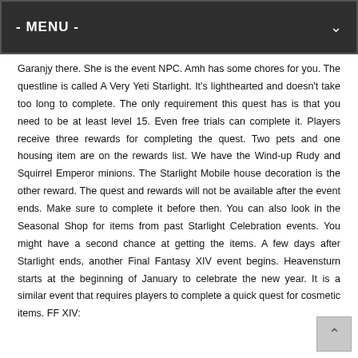- MENU -
Garanjy there. She is the event NPC. Amh has some chores for you. The questline is called A Very Yeti Starlight. It's lighthearted and doesn't take too long to complete. The only requirement this quest has is that you need to be at least level 15. Even free trials can complete it. Players receive three rewards for completing the quest. Two pets and one housing item are on the rewards list. We have the Wind-up Rudy and Squirrel Emperor minions. The Starlight Mobile house decoration is the other reward. The quest and rewards will not be available after the event ends. Make sure to complete it before then. You can also look in the Seasonal Shop for items from past Starlight Celebration events. You might have a second chance at getting the items. A few days after Starlight ends, another Final Fantasy XIV event begins. Heavensturn starts at the beginning of January to celebrate the new year. It is a similar event that requires players to complete a quick quest for cosmetic items. FF XIV: